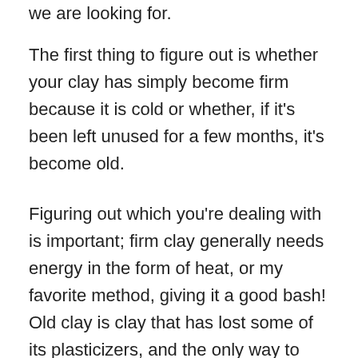we are looking for.
The first thing to figure out is whether your clay has simply become firm because it is cold or whether, if it's been left unused for a few months, it's become old.
Figuring out which you're dealing with is important; firm clay generally needs energy in the form of heat, or my favorite method, giving it a good bash! Old clay is clay that has lost some of its plasticizers, and the only way to make it usable again is to re-add them.